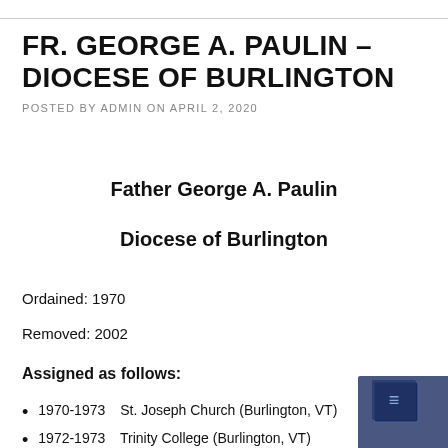FR. GEORGE A. PAULIN – DIOCESE OF Burlington
POSTED BY ADMIN ON APRIL 2, 2020
Father George A. Paulin
Diocese of Burlington
Ordained: 1970
Removed: 2002
Assigned as follows:
1970-1973     St. Joseph Church (Burlington, VT)
1972-1973     Trinity College (Burlington, VT)